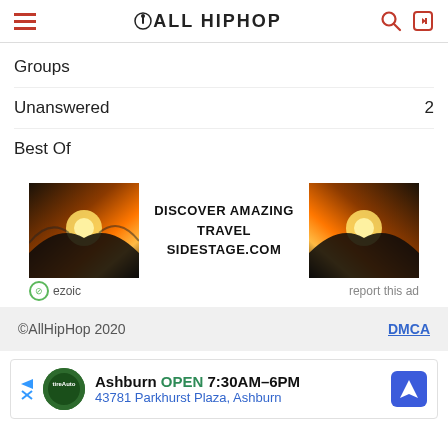AllHipHop
Groups
Unanswered  2
Best Of
[Figure (infographic): Advertisement banner: DISCOVER AMAZING TRAVEL SIDESTAGE.COM with sunset/mountain images on left and right, ezoic label bottom-left, report this ad bottom-right]
©AllHipHop 2020   DMCA
[Figure (infographic): Bottom ad: Ashburn OPEN 7:30AM-6PM, 43781 Parkhurst Plaza, Ashburn]